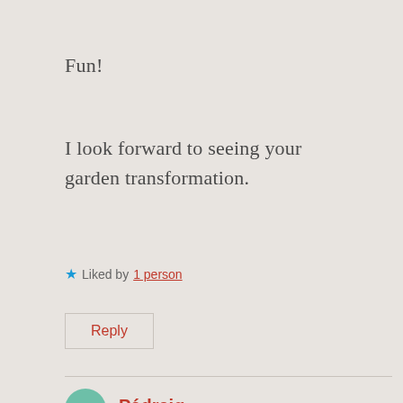Fun!
I look forward to seeing your garden transformation.
★ Liked by 1 person
Reply
Pádraig
March 6, 2021 at 4:52 pm